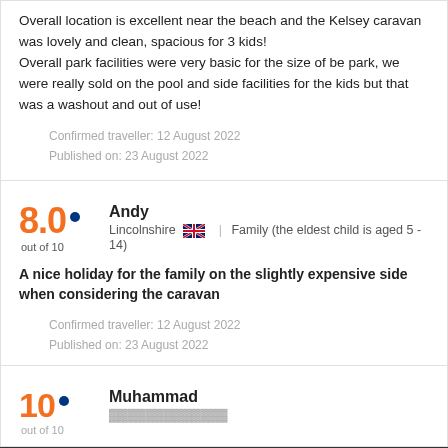Overall location is excellent near the beach and the Kelsey caravan was lovely and clean, spacious for 3 kids! Overall park facilities were very basic for the size of be park, we were really sold on the pool and side facilities for the kids but that was a washout and out of use!
Confirmed traveller: 12 August 2022
Published on: 23 August 2022
8.0 out of 10
Andy
Lincolnshire | Family (the eldest child is aged 5 - 14)
A nice holiday for the family on the slightly expensive side when considering the caravan
Confirmed traveller: 12 August 2022
Published on: 23 August 2022
10
Muhammad